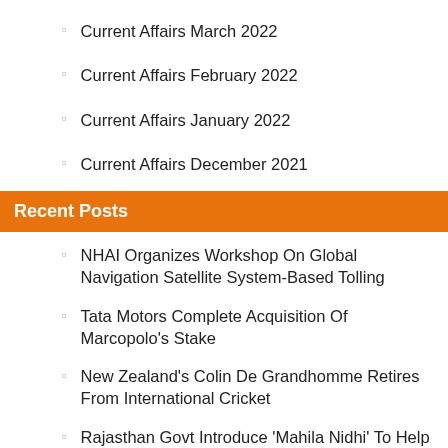Current Affairs March 2022
Current Affairs February 2022
Current Affairs January 2022
Current Affairs December 2021
Recent Posts
NHAI Organizes Workshop On Global Navigation Satellite System-Based Tolling
Tata Motors Complete Acquisition Of Marcopolo’s Stake
New Zealand’s Colin De Grandhomme Retires From International Cricket
Rajasthan Govt Introduce ‘Mahila Nidhi’ To Help Women Entrepreneurs
ICICI Bank And NMDFC Ink An Agreement For